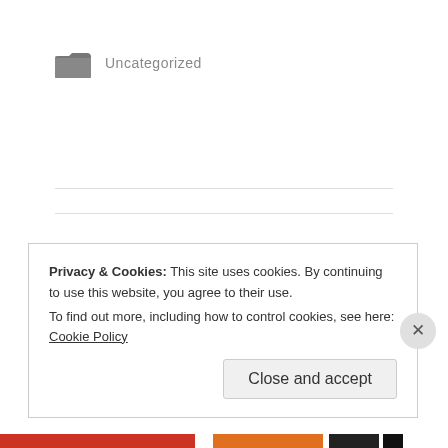Uncategorized
← Happy 2016!!!
Snowmageddon 2016 →
Privacy & Cookies: This site uses cookies. By continuing to use this website, you agree to their use. To find out more, including how to control cookies, see here: Cookie Policy
Close and accept